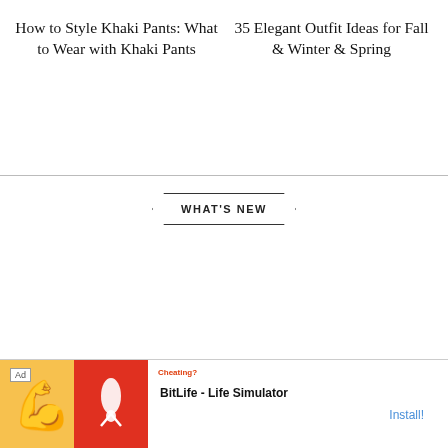How to Style Khaki Pants: What to Wear with Khaki Pants
35 Elegant Outfit Ideas for Fall & Winter & Spring
WHAT'S NEW
[Figure (screenshot): Ad banner for BitLife - Life Simulator app with 'Ad' label, app icons, app name text, and Install button]